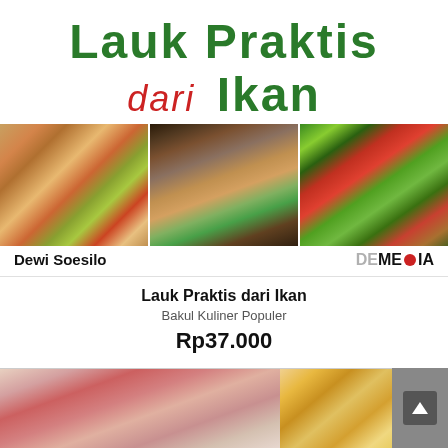Lauk Praktis dari Ikan
[Figure (photo): Book cover showing three food photos: stir-fried fish with peppers, fish in broth/sauce in a pan, fish with sliced bitter melon/okra]
Dewi Soesilo
[Figure (logo): DEMEDIA publisher logo with red circle as part of the O in MEDIA]
Lauk Praktis dari Ikan
Bakul Kuliner Populer
Rp37.000
[Figure (photo): Bottom partial book cover images showing food dishes]